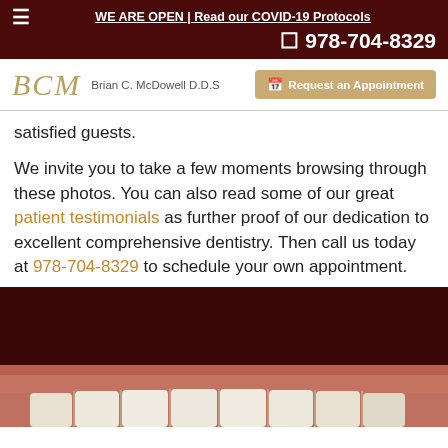WE ARE OPEN | Read our COVID-19 Protocols
☎ 978-704-8329
[Figure (logo): BCM script logo with text Brian C. McDowell D.D.S and Request an Appointment button]
satisfied guests.
We invite you to take a few moments browsing through these photos. You can also read some of our great patient testimonials as further proof of our dedication to excellent comprehensive dentistry. Then call us today at 978-704-8329 to schedule your own appointment.
[Figure (photo): Close-up dental photo showing teeth and gums]